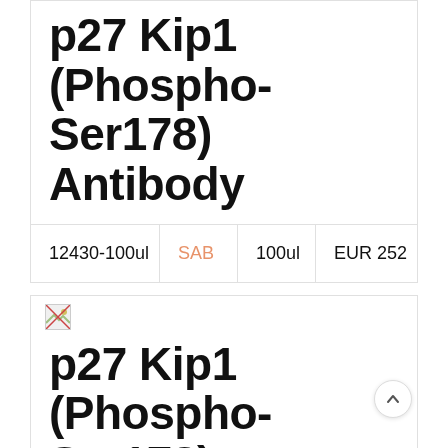p27 Kip1 (Phospho-Ser178) Antibody
| 12430-100ul | SAB | 100ul | EUR 252 |
| --- | --- | --- | --- |
[Figure (photo): Small broken image placeholder icon]
p27 Kip1 (Phospho-Ser178) Antibody